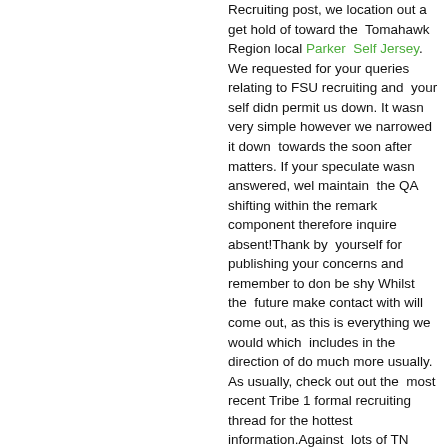Recruiting post, we location out a get hold of toward the Tomahawk Region local Parker Self Jersey. We requested for your queries relating to FSU recruiting and your self didn permit us down. It wasn very simple however we narrowed it down towards the soon after matters. If your speculate wasn answered, wel maintain the QA shifting within the remark component therefore inquire absent!Thank by yourself for publishing your concerns and remember to don be shy Whilst the future make contact with will come out, as this is everything we would which includes in the direction of do much more usually. As usually, check out out the most recent Tribe 1 formal recruiting thread for the hottest information.Against lots of TN people How do oneself view COVID influencing the unwind of this recruiting cycle, and even the Tribe 2 cycle? What will campus actions be as we shift into the drop? Will...